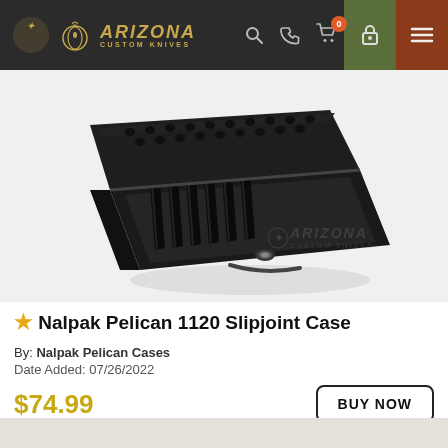Arizona Custom Knives — navigation header
[Figure (photo): A black Nalpak Pelican 1120 hard case open, showing foam insert with 6 slots for slipjoint knives, on white background with Arizona Custom Knives watermark]
★ Nalpak Pelican 1120 Slipjoint Case
By: Nalpak Pelican Cases
Date Added: 07/26/2022
$74.99
BUY NOW